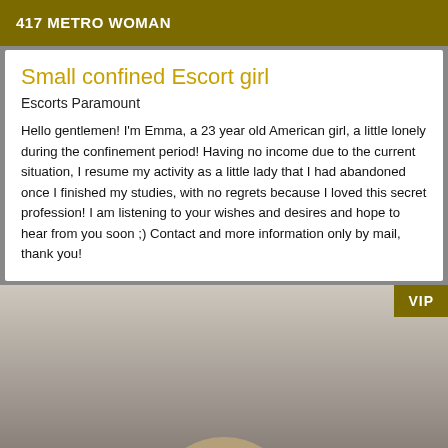417 METRO WOMAN
Small confined Escort girl
Escorts Paramount
Hello gentlemen! I'm Emma, a 23 year old American girl, a little lonely during the confinement period! Having no income due to the current situation, I resume my activity as a little lady that I had abandoned once I finished my studies, with no regrets because I loved this secret profession! I am listening to your wishes and desires and hope to hear from you soon ;) Contact and more information only by mail, thank you!
[Figure (photo): Partial photo with a VIP badge in the top right corner, showing a blurred background and a partial view of a hand at the bottom.]